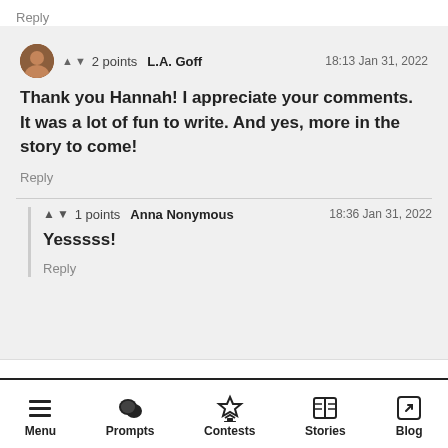Reply
▲ ▼ 2 points  L.A. Goff  18:13 Jan 31, 2022
Thank you Hannah! I appreciate your comments. It was a lot of fun to write. And yes, more in the story to come!
Reply
▲ ▼ 1 points  Anna Nonymous  18:36 Jan 31, 2022
Yesssss!
Reply
Menu  Prompts  Contests  Stories  Blog